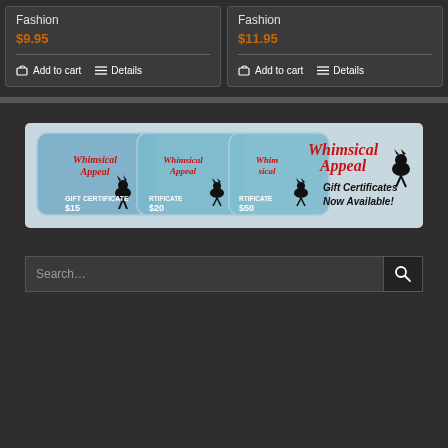Fashion
$9.95
Add to cart
Details
Fashion
$11.95
Add to cart
Details
[Figure (photo): Whimsical Appeal gift certificates banner showing three gift cards ($15, $20, $50) with text 'Gift Certificates Now Available!']
Search...